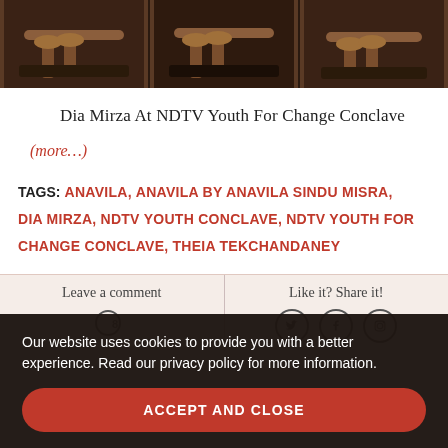[Figure (photo): Three cropped photos of feet/shoes at the NDTV Youth For Change Conclave, arranged side by side]
Dia Mirza At NDTV Youth For Change Conclave
(more...)
TAGS: ANAVILA, ANAVILA BY ANAVILA SINDU MISRA, DIA MIRZA, NDTV YOUTH CONCLAVE, NDTV YOUTH FOR CHANGE CONCLAVE, THEIA TEKCHANDANEY
Leave a comment   Like it? Share it!
Our website uses cookies to provide you with a better experience. Read our privacy policy for more information.
ACCEPT AND CLOSE